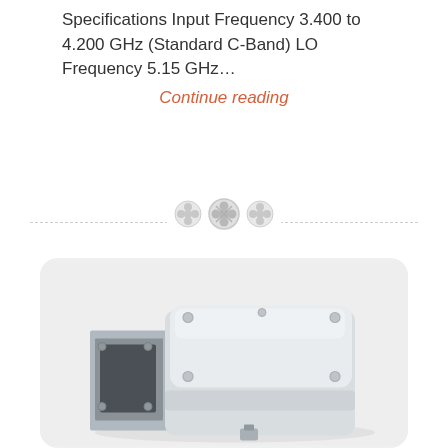Specifications Input Frequency 3.400 to 4.200 GHz (Standard C-Band) LO Frequency 5.15 GHz... Continue reading
[Figure (photo): A white rectangular RF/microwave device (likely a C-Band LNB or block downconverter) with a waveguide input port visible on the front face and a metal enclosure with screws on top, photographed against a light grey rounded-corner card background.]